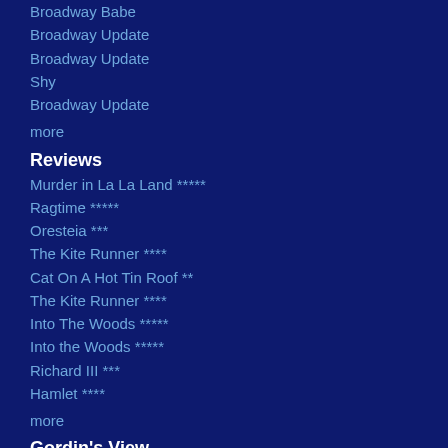Broadway Babe
Broadway Update
Broadway Update
Shy
Broadway Update
more
Reviews
Murder in La La Land *****
Ragtime *****
Oresteia ***
The Kite Runner ****
Cat On A Hot Tin Roof **
The Kite Runner ****
Into The Woods *****
Into the Woods *****
Richard III ***
Hamlet ****
more
Gordin's View
Ragtime Opens at Bay Street
Lillias White @ Bay Street
Anna in the Tropics @ Bay Street